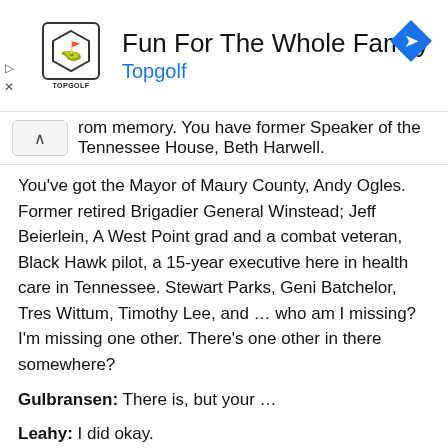[Figure (other): Topgolf advertisement banner with logo, text 'Fun For The Whole Family' and 'Topgolf', and a blue diamond navigation icon]
rom memory. You have former Speaker of the Tennessee House, Beth Harwell.
You've got the Mayor of Maury County, Andy Ogles. Former retired Brigadier General Winstead; Jeff Beierlein, A West Point grad and a combat veteran, Black Hawk pilot, a 15-year executive here in health care in Tennessee. Stewart Parks, Geni Batchelor, Tres Wittum, Timothy Lee, and … who am I missing? I'm missing one other. There's one other in there somewhere?
Gulbransen: There is, but your …
Leahy: I did okay.
Gulbransen: The human brain tends to go in for the ones